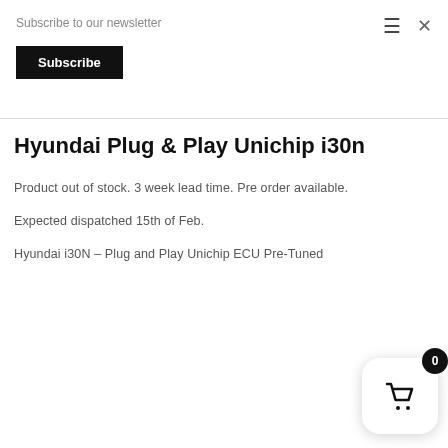Subscribe to our newsletter
Subscribe
Hyundai Plug & Play Unichip i30n
Product out of stock. 3 week lead time. Pre order available.
Expected dispatched 15th of Feb.
Hyundai i30N – Plug and Play Unichip ECU Pre-Tuned